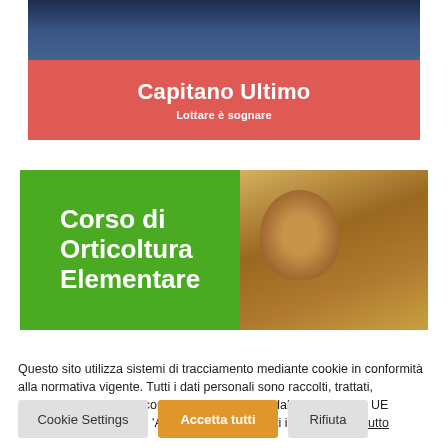[Figure (screenshot): Top banner showing Capitano Ultimo with dark blue photo area and red background below with title and subtitle]
Capitano Ultimo
Lottare è sognare
[Figure (screenshot): Green banner with white bold text 'Corso di Orticoltura Elementare' on left, and a photo of a person in a field on the right]
Questo sito utilizza sistemi di tracciamento mediante cookie in conformità alla normativa vigente. Tutti i dati personali sono raccolti, trattati, conservati e protetti secondo quanto disposto dal Regolamento UE 216/2016. Cliccando su 'Acconsenti' accetti tutti i cookie. Leggi tutto